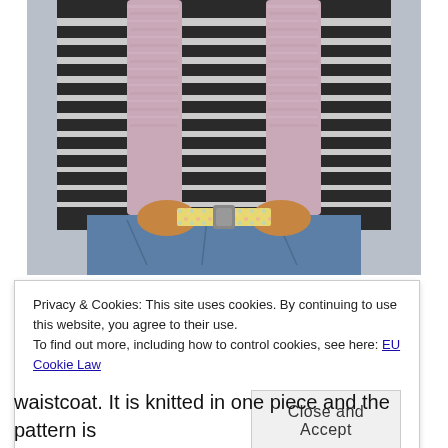[Figure (photo): A person wearing a black and white striped long-sleeve shirt under a fuzzy pink/mauve waistcoat/vest, with blue jeans and a floral belt, hands in pockets, shown from neck to hips against a light grey background.]
Privacy & Cookies: This site uses cookies. By continuing to use this website, you agree to their use.
To find out more, including how to control cookies, see here: EU Cookie Law
Close and Accept
waistcoat. It is knitted in one piece and the pattern is